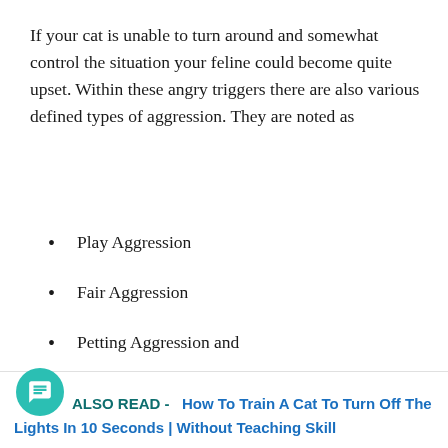If your cat is unable to turn around and somewhat control the situation your feline could become quite upset. Within these angry triggers there are also various defined types of aggression. They are noted as
Play Aggression
Fair Aggression
Petting Aggression and
Redirected Aggression
ALSO READ -  How To Train A Cat To Turn Off The Lights In 10 Seconds | Without Teaching Skill